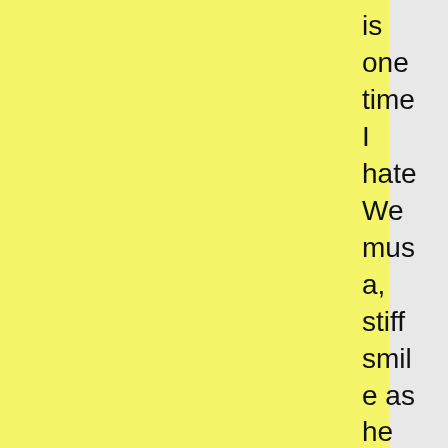is one time I hate We mus a, stiff smile as he stares at a cabinet.

"Do you smoke?"